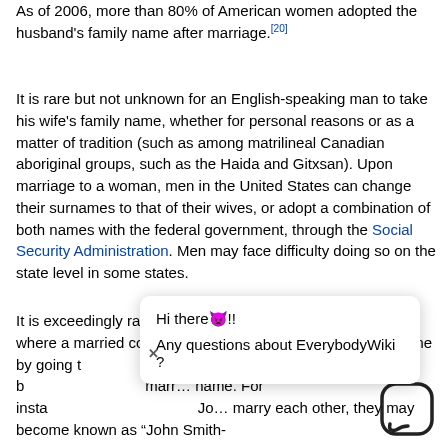As of 2006, more than 80% of American women adopted the husband's family name after marriage.[20]
It is rare but not unknown for an English-speaking man to take his wife's family name, whether for personal reasons or as a matter of tradition (such as among matrilineal Canadian aboriginal groups, such as the Haida and Gitxsan). Upon marriage to a woman, men in the United States can change their surnames to that of their wives, or adopt a combination of both names with the federal government, through the Social Security Administration. Men may face difficulty doing so on the state level in some states.
It is exceedingly rare but does occur in the United States, where a married couple may choose an entirely new last name by going t... As an alternative, b... marr... name. For insta... Jo... marry each other, they may be known as "John Smith-